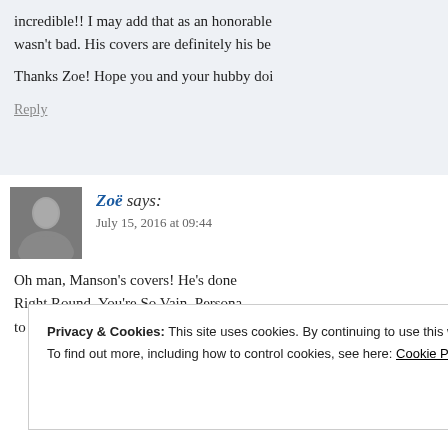incredible!! I may add that as an honorable wasn't bad. His covers are definitely his be
Thanks Zoe! Hope you and your hubby doi
Reply
Zoë says: July 15, 2016 at 09:44
Oh man, Manson's covers! He's done Right Round, You're So Vain, Persona to One, The KKK Took My Baby Aw
Privacy & Cookies: This site uses cookies. By continuing to use this website, you agree to their use. To find out more, including how to control cookies, see here: Cookie Policy
Close and accept